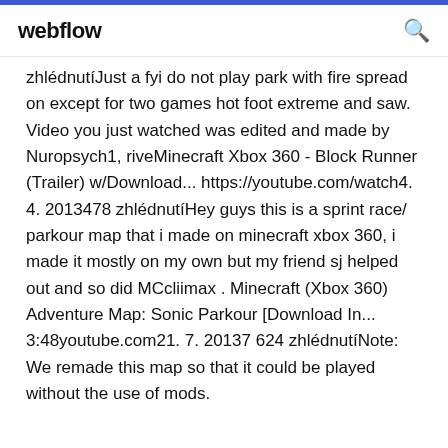webflow
zhlédnutíJust a fyi do not play park with fire spread on except for two games hot foot extreme and saw. Video you just watched was edited and made by Nuropsych1, riveMinecraft Xbox 360 - Block Runner (Trailer) w/Download... https://youtube.com/watch4. 4. 2013478 zhlédnutíHey guys this is a sprint race/ parkour map that i made on minecraft xbox 360, i made it mostly on my own but my friend sj helped out and so did MCcliimax . Minecraft (Xbox 360) Adventure Map: Sonic Parkour [Download In... 3:48youtube.com21. 7. 20137 624 zhlédnutíNote: We remade this map so that it could be played without the use of mods.